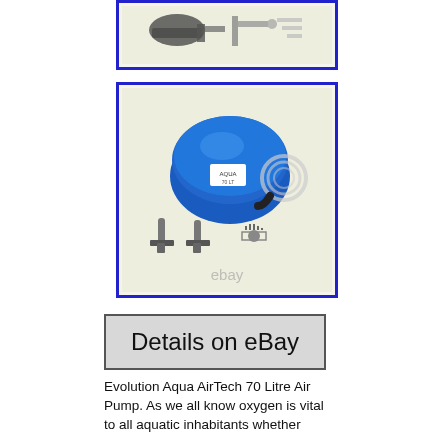[Figure (photo): Partially visible product photo of aquarium pump parts with blue border frame (top of page, cropped)]
[Figure (photo): Evolution Aqua AirTech 70 Litre Air Pump product photo showing blue dome-shaped pump unit with tubing, air stones/diffusers, and accessories. eBay watermark visible. Blue border frame.]
[Figure (screenshot): Details on eBay button - grey rectangular button with black text reading 'Details on eBay']
Evolution Aqua AirTech 70 Litre Air Pump. As we all know oxygen is vital to all aquatic inhabitants whether